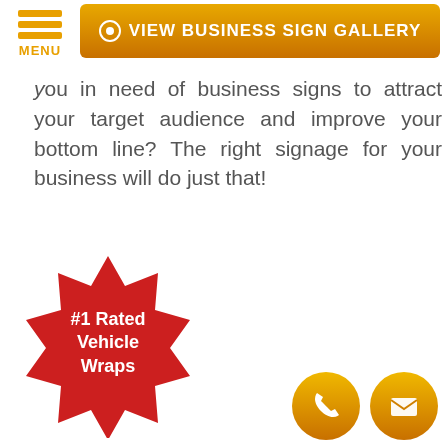[Figure (screenshot): Orange hamburger menu icon with three horizontal lines and MENU label in orange text]
[Figure (screenshot): Orange rounded rectangle button with eye icon and text VIEW BUSINESS SIGN GALLERY in white bold capitals]
you in need of business signs to attract your target audience and improve your bottom line? The right signage for your business will do just that!
[Figure (illustration): Red star/badge shape with white bold text reading #1 Rated Vehicle Wraps]
[Figure (illustration): Two orange circular contact icons: phone handset icon and envelope/mail icon]